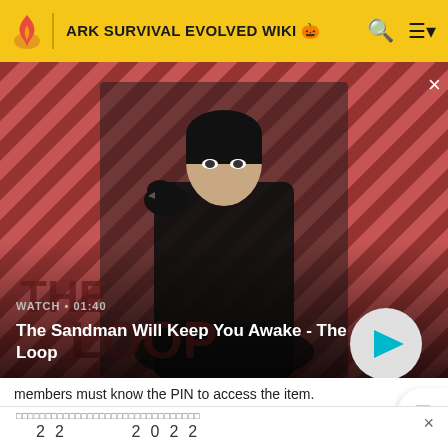ARK SURVIVAL EVOLVED WIKI
[Figure (screenshot): Video thumbnail for 'The Sandman Will Keep You Awake - The Loop' showing a dark-clothed figure with a raven on shoulder against red-pink striped background. Play button visible bottom right. Duration shown as 01:40.]
WATCH • 01:40
The Sandman Will Keep You Awake - The Loop
members must know the PIN to access the item.
22      2022